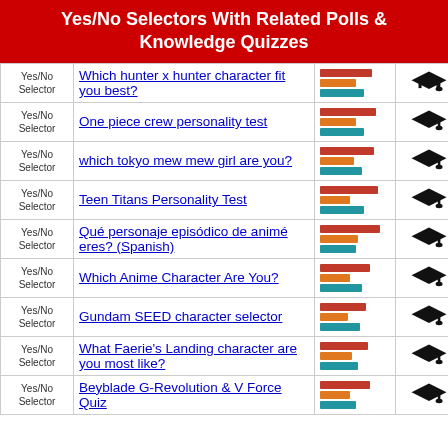Yes/No Selectors With Related Polls & Knowledge Quizzes
| Type | Quiz/Selector | Poll | Quiz |
| --- | --- | --- | --- |
| Yes/No Selector | Which hunter x hunter character fit you best? | [bar chart] | [grad cap] |
| Yes/No Selector | One piece crew personality test | [bar chart] | [grad cap] |
| Yes/No Selector | which tokyo mew mew girl are you? | [bar chart] | [grad cap] |
| Yes/No Selector | Teen Titans Personality Test | [bar chart] | [grad cap] |
| Yes/No Selector | Qué personaje episódico de animé eres? (Spanish) | [bar chart] | [grad cap] |
| Yes/No Selector | Which Anime Character Are You? | [bar chart] | [grad cap] |
| Yes/No Selector | Gundam SEED character selector | [bar chart] | [grad cap] |
| Yes/No Selector | What Faerie's Landing character are you most like? | [bar chart] | [grad cap] |
| Yes/No Selector | Beyblade G-Revolution & V Force Quiz | [bar chart] | [grad cap] |